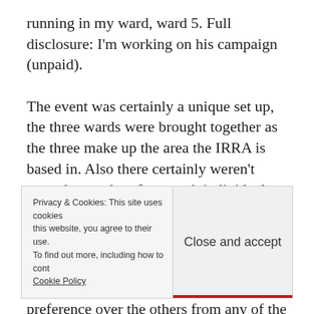running in my ward, ward 5. Full disclosure: I'm working on his campaign (unpaid).

The event was certainly a unique set up, the three wards were brought together as the three make up the area the IRRA is based in. Also there certainly weren't enough attendees from each individual ward to warrant a single event per ward (although ward 5 residents perhaps took up nearly half the audience). The candidates sat at tables in front of the audience
Privacy & Cookies: This site uses cookies. By continuing to use this website, you agree to their use. To find out more, including how to control cookies, see here: Cookie Policy
Close and accept
preference over the others from any of the